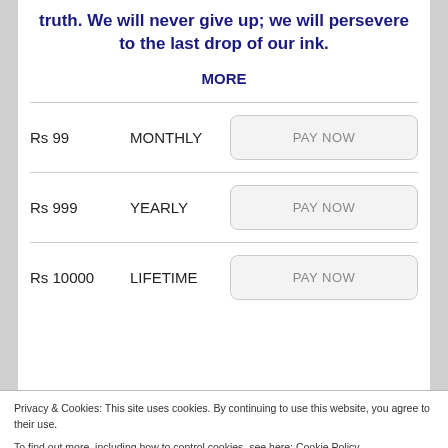truth. We will never give up; we will persevere to the last drop of our ink.
MORE
| Price | Period | Action |
| --- | --- | --- |
| Rs 99 | MONTHLY | PAY NOW |
| Rs 999 | YEARLY | PAY NOW |
| Rs 10000 | LIFETIME | PAY NOW |
Privacy & Cookies: This site uses cookies. By continuing to use this website, you agree to their use.
To find out more, including how to control cookies, see here: Cookie Policy
Close and accept